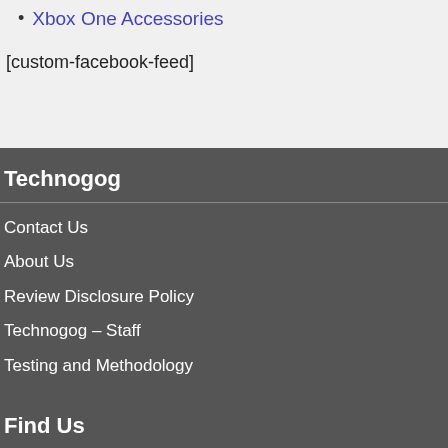Xbox One Accessories
[custom-facebook-feed]
Technogog
Contact Us
About Us
Review Disclosure Policy
Technogog – Staff
Testing and Methodology
Find Us
On FaceBook
On Twitter